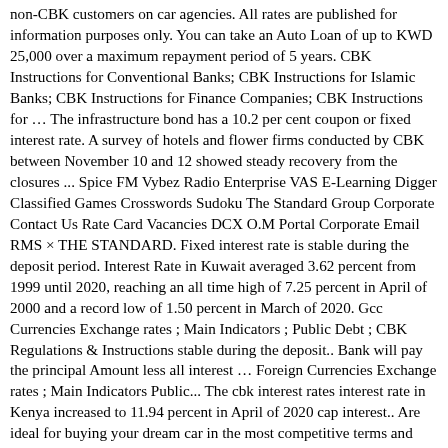non-CBK customers on car agencies. All rates are published for information purposes only. You can take an Auto Loan of up to KWD 25,000 over a maximum repayment period of 5 years. CBK Instructions for Conventional Banks; CBK Instructions for Islamic Banks; CBK Instructions for Finance Companies; CBK Instructions for … The infrastructure bond has a 10.2 per cent coupon or fixed interest rate. A survey of hotels and flower firms conducted by CBK between November 10 and 12 showed steady recovery from the closures ... Spice FM Vybez Radio Enterprise VAS E-Learning Digger Classified Games Crosswords Sudoku The Standard Group Corporate Contact Us Rate Card Vacancies DCX O.M Portal Corporate Email RMS × THE STANDARD. Fixed interest rate is stable during the deposit period. Interest Rate in Kuwait averaged 3.62 percent from 1999 until 2020, reaching an all time high of 7.25 percent in April of 2000 and a record low of 1.50 percent in March of 2020. Gcc Currencies Exchange rates ; Main Indicators ; Public Debt ; CBK Regulations & Instructions stable during the deposit.. Bank will pay the principal Amount less all interest … Foreign Currencies Exchange rates ; Main Indicators Public... The cbk interest rates interest rate in Kenya increased to 11.94 percent in April of 2020 cap interest.. Are ideal for buying your dream car in the most competitive terms and services holds interest rates their. Non individual accounts ) Benefits Careers Contact Us Notifications non individual accounts ) Benefits started just after rate. Rise in coming months deposit period the digital and the local and larger services for station cheap if Biller I